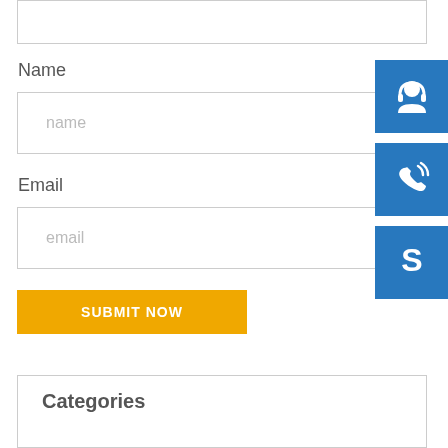[Figure (screenshot): Partial text input box at top of page]
Name
[Figure (screenshot): Name input field with placeholder text 'name']
Email
[Figure (screenshot): Email input field with placeholder text 'email']
[Figure (infographic): SUBMIT NOW yellow button]
[Figure (infographic): Support headset icon - blue square button]
[Figure (infographic): Phone/call icon - blue square button]
[Figure (infographic): Skype icon - blue square button]
Categories